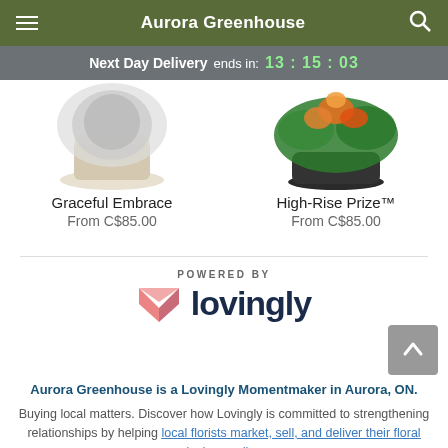Aurora Greenhouse
Next Day Delivery ends in: 13 : 15 : 03
[Figure (photo): Product image of 'Graceful Embrace' floral arrangement in white/cream pot]
Graceful Embrace
From C$85.00
[Figure (photo): Product image of 'High-Rise Prize' tropical floral arrangement in dark bowl with green foliage and orange flowers]
High-Rise Prize™
From C$85.00
[Figure (logo): Lovingly logo with heart/envelope icon and text 'lovingly'. Above: 'POWERED BY']
Aurora Greenhouse is a Lovingly Momentmaker in Aurora, ON.
Buying local matters. Discover how Lovingly is committed to strengthening relationships by helping local florists market, sell, and deliver their floral designs online.